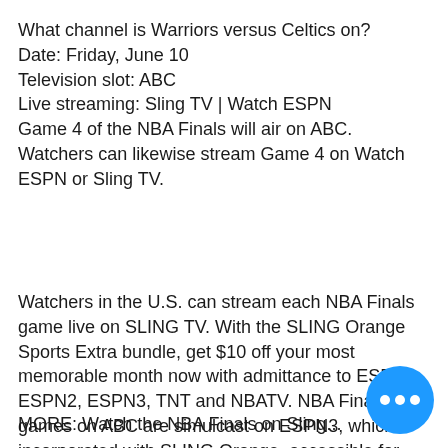What channel is Warriors versus Celtics on?
Date: Friday, June 10
Television slot: ABC
Live streaming: Sling TV | Watch ESPN
Game 4 of the NBA Finals will air on ABC. Watchers can likewise stream Game 4 on Watch ESPN or Sling TV.
Watchers in the U.S. can stream each NBA Finals game live on SLING TV. With the SLING Orange Sports Extra bundle, get $10 off your most memorable month now with admittance to ESPN, ESPN2, ESPN3, TNT and NBATV. NBA Finals games on ABC are simulcast on ESPN3, which is incorporated with SLING Orange, accessible for $35 each month including $25 the main month for new supporters.
MORE: Watch the NBA Finals on Sling...